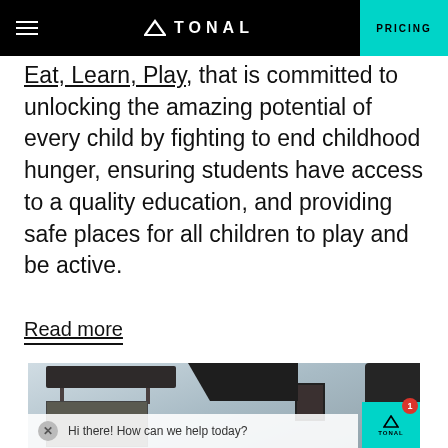TONAL | PRICING
Eat, Learn, Play, that is committed to unlocking the amazing potential of every child by fighting to end childhood hunger, ensuring students have access to a quality education, and providing safe places for all children to play and be active.
Read more
[Figure (photo): Interior home gym photo showing a wall-mounted shelf with items, a pegboard tool organizer, a dark Tonal fitness device mounted on the wall, and a chat widget overlay at the bottom reading 'Hi there! How can we help today?' with a Tonal chat button.]